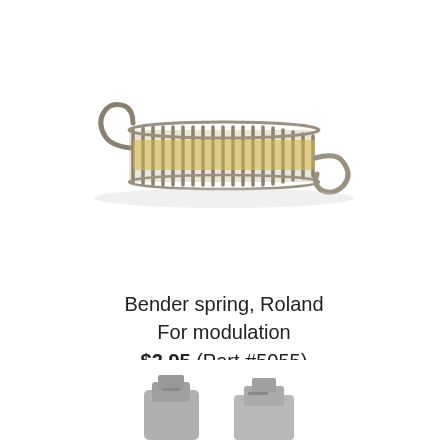[Figure (photo): A metal extension spring (bender spring) with hooks on both ends, silver/gold colored coils, shown on white background]
Bender spring, Roland
For modulation
$2.95 (Part #5055)
Click for details
[Figure (photo): Partial view of another small electronic/mechanical part, gray colored, visible at bottom of page]